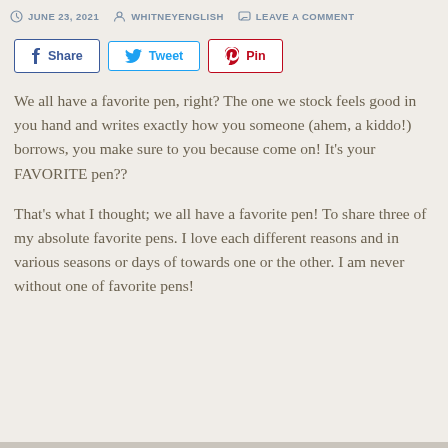JUNE 23, 2021  WHITNEYENGLISH  LEAVE A COMMENT
[Figure (other): Share bar with Facebook Share, Twitter Tweet, and Pinterest Pin buttons]
We all have a favorite pen, right? The one we stock feels good in you hand and writes exactly how you someone (ahem, a kiddo!) borrows, you make sure to you because come on! It's your FAVORITE pen??
That's what I thought; we all have a favorite pen! To share three of my absolute favorite pens. I love each different reasons and in various seasons or days of towards one or the other. I am never without one of favorite pens!